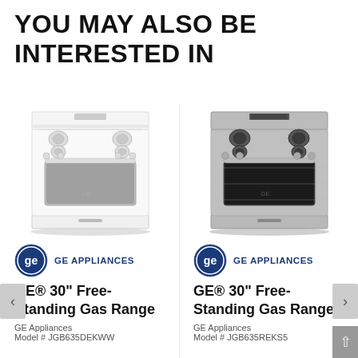YOU MAY ALSO BE INTERESTED IN
[Figure (photo): White GE gas range, free-standing, front view showing burners and oven window]
[Figure (logo): GE Appliances logo with circular GE monogram and text GE APPLIANCES]
GE® 30" Free-Standing Gas Range
GE Appliances
Model # JGB635DEKWW
[Figure (photo): Stainless steel GE gas range, free-standing, front view showing burners and oven window]
[Figure (logo): GE Appliances logo with circular GE monogram and text GE APPLIANCES]
GE® 30" Free-Standing Gas Range
GE Appliances
Model # JGB635REKS5